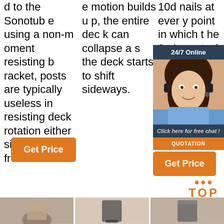d to the Sonotube using a non-moment resisting bracket, posts are typically useless in resisting deck rotation either side to side or front to back.
e motion builds up, the entire deck can collapse as the deck starts to shift sideways.
10d nails at every point in which the 2×4 meets the deck's joists. If the you arge gle 2x4 ove x4s
[Figure (other): Orange Get Price button column 1]
[Figure (other): Orange Get Price button column 2]
[Figure (other): Chat widget with 24/7 Online label, agent photo, Click here for free chat, QUOTATION button]
[Figure (other): Orange Get Price button column 3]
[Figure (other): TOP badge with orange dots and TOP text]
[Figure (photo): Three product photos at bottom of page]